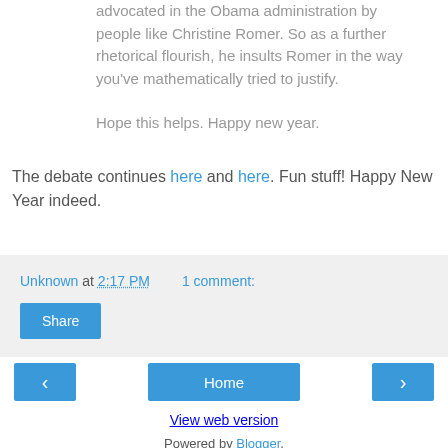advocated in the Obama administration by people like Christine Romer. So as a further rhetorical flourish, he insults Romer in the way you've mathematically tried to justify.
Hope this helps. Happy new year.
The debate continues here and here. Fun stuff! Happy New Year indeed.
Unknown at 2:17 PM    1 comment:
Share
‹
Home
›
View web version
Powered by Blogger.